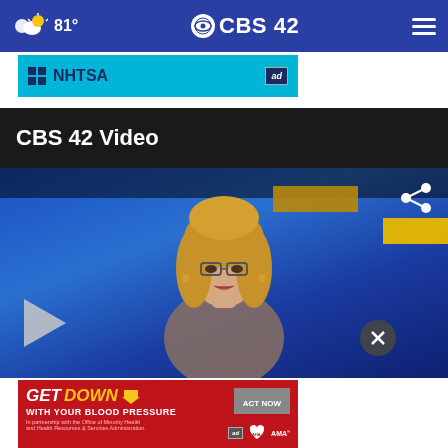81° CBS 42
[Figure (screenshot): NHTSA advertisement banner with cyan/teal background]
CBS 42 Video
[Figure (screenshot): Video player showing female news anchor at blue studio desk, with play button, share icon, and close X button overlay]
[Figure (screenshot): GET DOWN WITH YOUR BLOOD PRESSURE advertisement banner in red with ACT NOW button, American Heart Association and AMA logos]